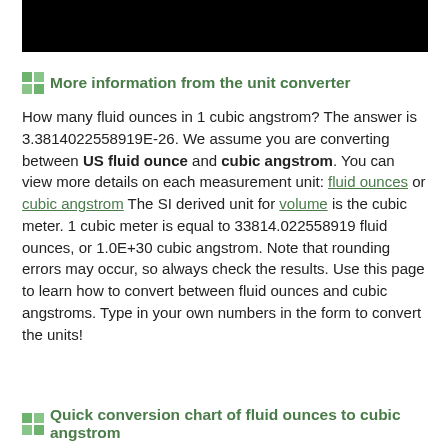[Figure (other): Black rectangular bar at the top of the page]
More information from the unit converter
How many fluid ounces in 1 cubic angstrom? The answer is 3.3814022558919E-26. We assume you are converting between US fluid ounce and cubic angstrom. You can view more details on each measurement unit: fluid ounces or cubic angstrom The SI derived unit for volume is the cubic meter. 1 cubic meter is equal to 33814.022558919 fluid ounces, or 1.0E+30 cubic angstrom. Note that rounding errors may occur, so always check the results. Use this page to learn how to convert between fluid ounces and cubic angstroms. Type in your own numbers in the form to convert the units!
Quick conversion chart of fluid ounces to cubic angstrom